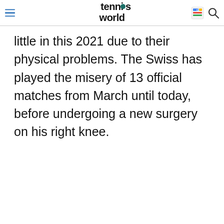tennis world
little in this 2021 due to their physical problems. The Swiss has played the misery of 13 official matches from March until today, before undergoing a new surgery on his right knee.